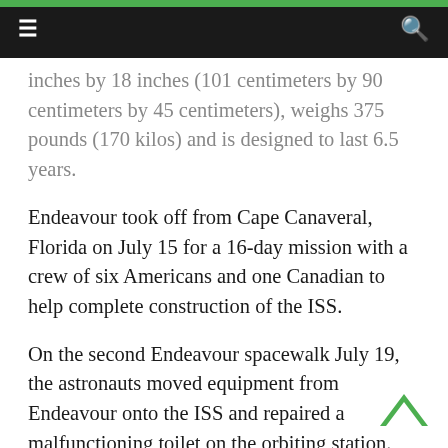≡   [search icon]
inches by 18 inches (101 centimeters by 90 centimeters by 45 centimeters), weighs 375 pounds (170 kilos) and is designed to last 6.5 years.
Endeavour took off from Cape Canaveral, Florida on July 15 for a 16-day mission with a crew of six Americans and one Canadian to help complete construction of the ISS.
On the second Endeavour spacewalk July 19, the astronauts moved equipment from Endeavour onto the ISS and repaired a malfunctioning toilet on the orbiting station.
During a first spacewalk July 18, astronauts completed construction of the Japanese Kibo